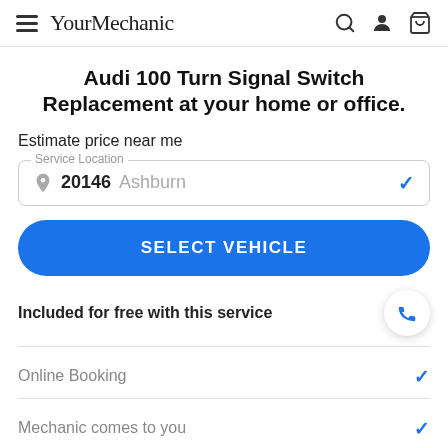YourMechanic
Audi 100 Turn Signal Switch Replacement at your home or office.
Estimate price near me
Service Location: 20146 Ashburn
SELECT VEHICLE
Included for free with this service
Online Booking
Mechanic comes to you